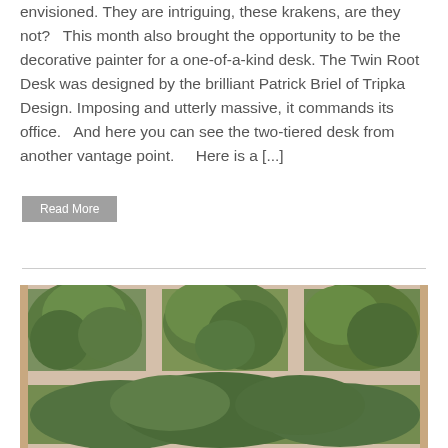envisioned. They are intriguing, these krakens, are they not?   This month also brought the opportunity to be the decorative painter for a one-of-a-kind desk. The Twin Root Desk was designed by the brilliant Patrick Briel of Tripka Design. Imposing and utterly massive, it commands its office.   And here you can see the two-tiered desk from another vantage point.     Here is a [...]
Read More
[Figure (photo): A photo of a window with white frames divided into multiple panes, showing trees with green foliage visible through the glass.]